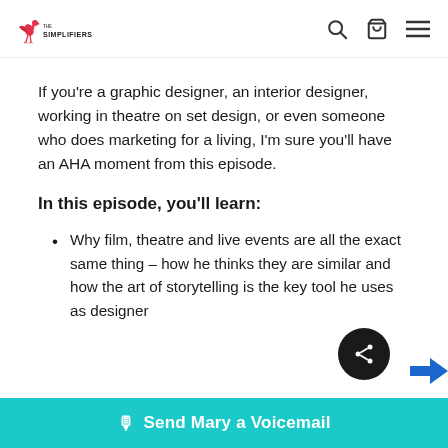The Simplifiers [logo] | Search | Cart | Menu
If you're a graphic designer, an interior designer, working in theatre on set design, or even someone who does marketing for a living, I'm sure you'll have an AHA moment from this episode.
In this episode, you'll learn:
Why film, theatre and live events are all the exact same thing – how he thinks they are similar and how the art of storytelling is the key tool he uses as designer